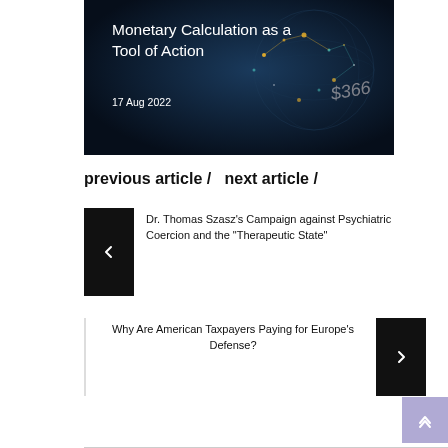[Figure (photo): Dark background image with globe/network visualization, gold and teal dots, showing '$366' text overlay. Article hero image for 'Monetary Calculation as a Tool of Action'.]
Monetary Calculation as a Tool of Action
17 Aug 2022
previous article /   next article /
Dr. Thomas Szasz's Campaign against Psychiatric Coercion and the "Therapeutic State"
Why Are American Taxpayers Paying for Europe's Defense?